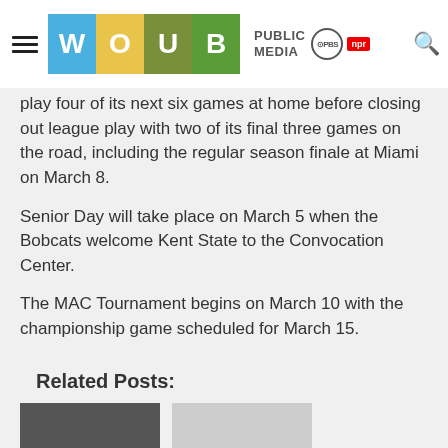WOUB PUBLIC MEDIA PBS NPR
play four of its next six games at home before closing out league play with two of its final three games on the road, including the regular season finale at Miami on March 8.
Senior Day will take place on March 5 when the Bobcats welcome Kent State to the Convocation Center.
The MAC Tournament begins on March 10 with the championship game scheduled for March 15.
Related Posts:
[Figure (photo): Two thumbnail images for related posts below the article]